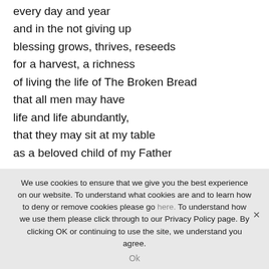every day and year
and in the not giving up
blessing grows, thrives, reseeds
for a harvest, a richness
of living the life of The Broken Bread
that all men may have
life and life abundantly,
that they may sit at my table
as a beloved child of my Father
The Lamb of God
Christ crucified
We use cookies to ensure that we give you the best experience on our website. To understand what cookies are and to learn how to deny or remove cookies please go here. To understand how we use them please click through to our Privacy Policy page. By clicking OK or continuing to use the site, we understand you agree.
Ok